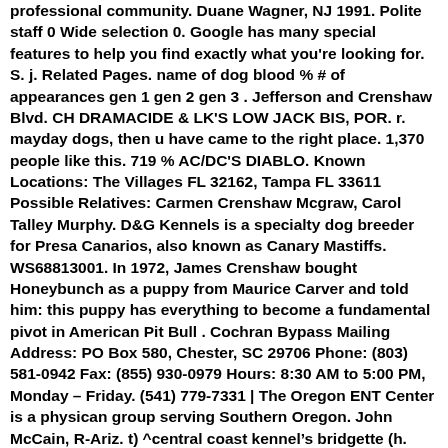professional community. Duane Wagner, NJ 1991. Polite staff 0 Wide selection 0. Google has many special features to help you find exactly what you're looking for. S. j. Related Pages. name of dog blood % # of appearances gen 1 gen 2 gen 3 . Jefferson and Crenshaw Blvd. CH DRAMACIDE & LK'S LOW JACK BIS, POR. r. mayday dogs, then u have came to the right place. 1,370 people like this. 719 % AC/DC'S DIABLO. Known Locations: The Villages FL 32162, Tampa FL 33611 Possible Relatives: Carmen Crenshaw Mcgraw, Carol Talley Murphy. D&G Kennels is a specialty dog breeder for Presa Canarios, also known as Canary Mastiffs. WS68813001. In 1972, James Crenshaw bought Honeybunch as a puppy from Maurice Carver and told him: this puppy has everything to become a fundamental pivot in American Pit Bull . Cochran Bypass Mailing Address: PO Box 580, Chester, SC 29706 Phone: (803) 581-0942 Fax: (855) 930-0979 Hours: 8:30 AM to 5:00 PM, Monday – Friday. (541) 779-7331 | The Oregon ENT Center is a physican group serving Southern Oregon. John McCain, R-Ariz. t) ^central coast kennel's bridgette (h. (garrett's) white's irene por: crenshaw's black girl por: crenshaw's big casey por: wood's amber : rising star's gypsy (2xw) rom: long's werdo (rom) ch crenshaw's jeep (4xw) rom: orr's dolly : rising star's harley por: brodt . 04/30/21 (Friday) San Diego Poodle Club. Sorted by last name first. AKC CLUB MEMBER. Check out our list of top golf gloves in 2022. FECHA DE NACIMIENTO